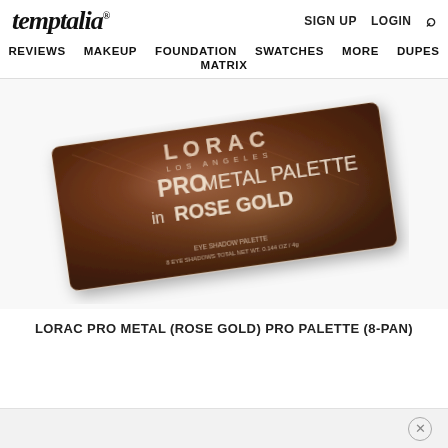temptalia® — SIGN UP  LOGIN  🔍
REVIEWS  MAKEUP  FOUNDATION  SWATCHES  MORE  DUPES  MATRIX
[Figure (photo): LORAC Pro Metal Palette in Rose Gold — a metallic rose-gold/bronze rectangular eyeshadow palette sitting at an angle on a white background, showing the front label text: LORAC LOS ANGELES PRO METAL PALETTE in ROSE GOLD, EYE SHADOW PALETTE, 8 EYE SHADOWS TOTAL NET WT. 0.144 OZ / 4g]
LORAC PRO METAL (ROSE GOLD) PRO PALETTE (8-PAN)